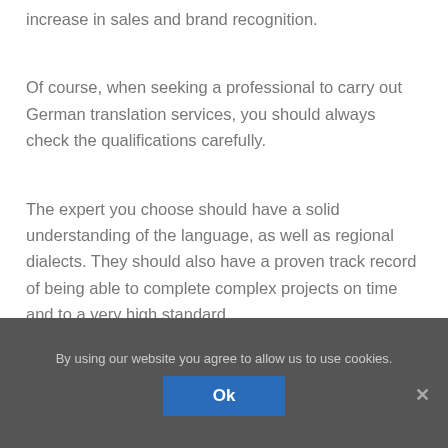increase in sales and brand recognition.
Of course, when seeking a professional to carry out German translation services, you should always check the qualifications carefully.
The expert you choose should have a solid understanding of the language, as well as regional dialects. They should also have a proven track record of being able to complete complex projects on time and to a very high standard.
By using our website you agree to allow us to use cookies.